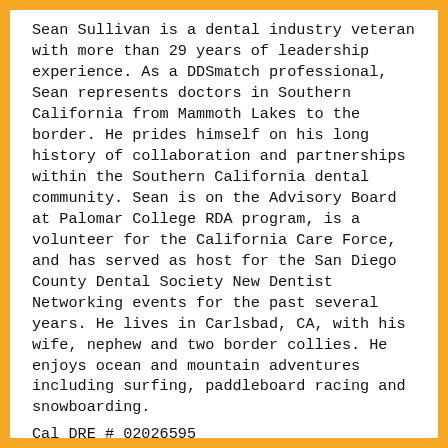Sean Sullivan is a dental industry veteran with more than 29 years of leadership experience. As a DDSmatch professional, Sean represents doctors in Southern California from Mammoth Lakes to the border. He prides himself on his long history of collaboration and partnerships within the Southern California dental community. Sean is on the Advisory Board at Palomar College RDA program, is a volunteer for the California Care Force, and has served as host for the San Diego County Dental Society New Dentist Networking events for the past several years. He lives in Carlsbad, CA, with his wife, nephew and two border collies. He enjoys ocean and mountain adventures including surfing, paddleboard racing and snowboarding.
Cal DRE # 02026595